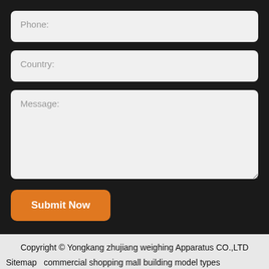Phone:
Country:
Message:
Submit Now
Copyright © Yongkang zhujiang weighing Apparatus CO.,LTD  Sitemap   commercial shopping mall building model types architectural study models supplies china   mini electric weighing scale high quality